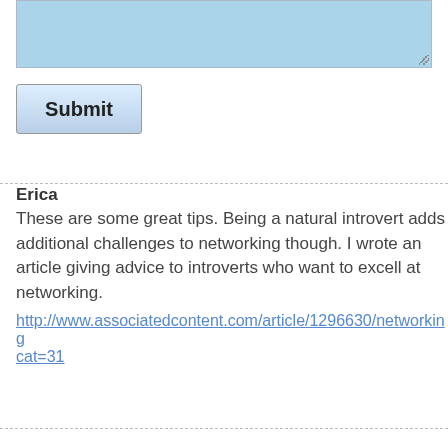[Figure (screenshot): Light blue textarea input box with resize handle in bottom right corner]
[Figure (screenshot): Submit button with light blue gradient background and bold black text]
Erica
These are some great tips. Being a natural introvert adds additional challenges to networking though. I wrote an article giving advice to introverts who want to excell at networking.
http://www.associatedcontent.com/article/1296630/networking cat=31